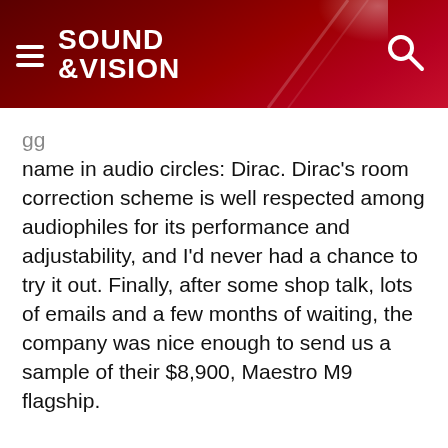SOUND &VISION
name in audio circles: Dirac. Dirac's room correction scheme is well respected among audiophiles for its performance and adjustability, and I'd never had a chance to try it out. Finally, after some shop talk, lots of emails and a few months of waiting, the company was nice enough to send us a sample of their $8,900, Maestro M9 flagship.
Continue Reading »
Surround Processor Reviews